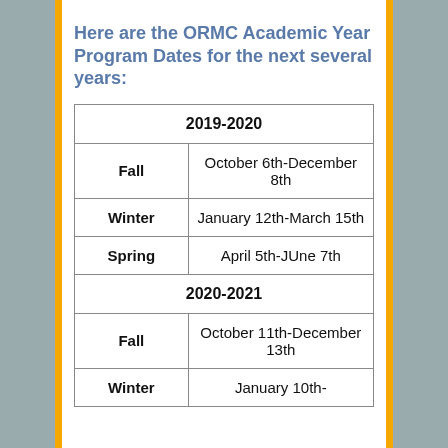Here are the ORMC Academic Year Program Dates for the next several years:
| Season | Dates |
| --- | --- |
| 2019-2020 |  |
| Fall | October 6th-December 8th |
| Winter | January 12th-March 15th |
| Spring | April 5th-JUne 7th |
| 2020-2021 |  |
| Fall | October 11th-December 13th |
| Winter | January 10th- |